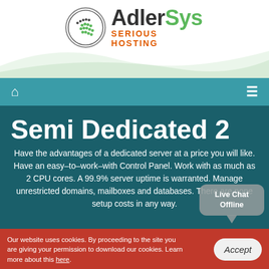[Figure (logo): AdlerSys logo with green circle icon and 'SERIOUS HOSTING' tagline]
Navigation bar with home icon and menu icon
Semi Dedicated 2
Have the advantages of a dedicated server at a price you will like. Have an easy–to–work–with Control Panel. Work with as much as 2 CPU cores. A 99.9% server uptime is warranted. Manage unrestricted domains, mailboxes and databases. There are none setup costs in any way.
Live Chat Offline
Our website uses cookies. By proceeding to the site you are giving your permission to download our cookies. Learn more about this here.